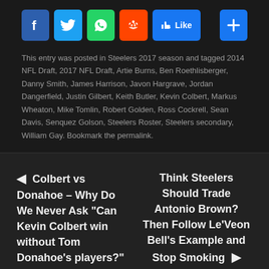[Figure (infographic): Social media sharing buttons: Facebook (blue), Twitter (blue), WhatsApp (green), Reddit (orange), Facebook Like button, and a blue plus/share button]
This entry was posted in Steelers 2017 season and tagged 2014 NFL Draft, 2017 NFL Draft, Artie Burns, Ben Roethlisberger, Danny Smith, James Harrison, Javon Hargrave, Jordan Dangerfield, Justin Gilbert, Keith Butler, Kevin Colbert, Markus Wheaton, Mike Tomlin, Robert Golden, Ross Cockrell, Sean Davis, Senquez Golson, Steelers Roster, Steelers secondary, William Gay. Bookmark the permalink.
◄ Colbert vs Donahoe – Why Do We Never Ask "Can Kevin Colbert win without Tom Donahoe's players?"
Think Steelers Should Trade Antonio Brown? Then Follow Le'Veon Bell's Example and Stop Smoking ►